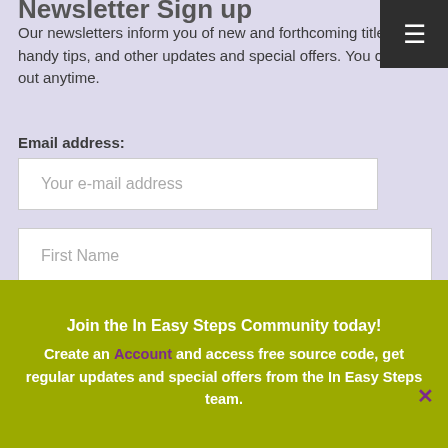Newsletter Sign up
Our newsletters inform you of new and forthcoming titles, handy tips, and other updates and special offers. You can opt out anytime.
Email address:
Your e-mail address
First Name
Last Name
Join the In Easy Steps Community today!
Create an Account and access free source code, get regular updates and special offers from the In Easy Steps team.